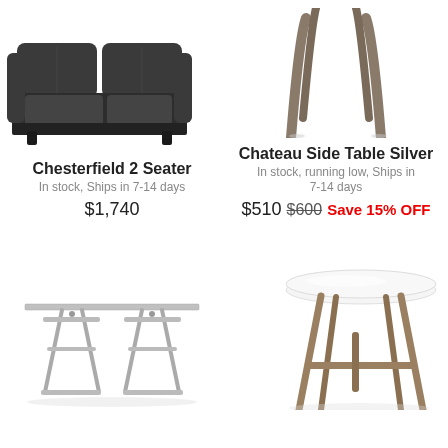[Figure (illustration): Dark charcoal Chesterfield 2-seater sofa, top portion visible]
Chesterfield 2 Seater
In stock, Ships in 7-14 days
$1,740
[Figure (illustration): Chateau side table with silver/wood tapered legs, top portion visible]
Chateau Side Table Silver
In stock, running low, Ships in 7-14 days
$510 $600 Save 15% OFF
[Figure (illustration): Industrial adjustable drafting desk with metal sawhorse legs]
[Figure (illustration): Round white marble-top dining table with gold/brass angled metal base]